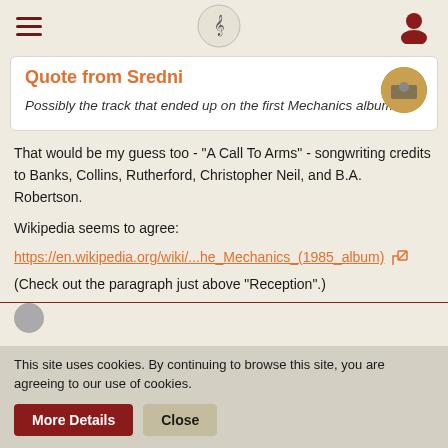Navigation bar with hamburger menu, logo, and user icon
Quote from Sredni
Possibly the track that ended up on the first Mechanics album.
That would be my guess too - "A Call To Arms" - songwriting credits to Banks, Collins, Rutherford, Christopher Neil, and B.A. Robertson.
Wikipedia seems to agree:
https://en.wikipedia.org/wiki/...he_Mechanics_(1985_album)
(Check out the paragraph just above "Reception".)
This site uses cookies. By continuing to browse this site, you are agreeing to our use of cookies.